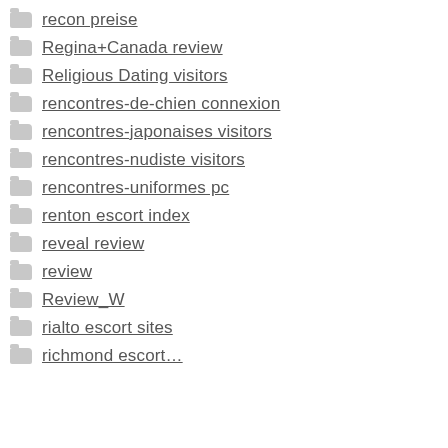recon preise
Regina+Canada review
Religious Dating visitors
rencontres-de-chien connexion
rencontres-japonaises visitors
rencontres-nudiste visitors
rencontres-uniformes pc
renton escort index
reveal review
review
Review_W
rialto escort sites
richmond escort…